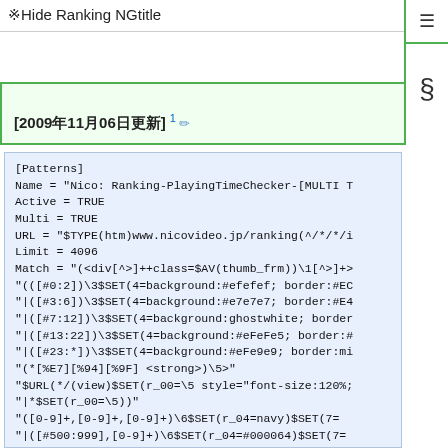※Hide Ranking NGtitle
[2009年11月06日更新] 1 ✏
[Patterns]
Name = "Nico: Ranking-PlayingTimeChecker-[MULTI T
Active = TRUE
Multi = TRUE
URL = "$TYPE(htm)www.nicovideo.jp/ranking(^/*/*/i
Limit = 4096
Match = "(<div[^>]++class=$AV(thumb_frm))\1[^>]+>
"(([#0:2])\3$SET(4=background:#efefef; border:#EC
"|([#3:6])\3$SET(4=background:#e7e7e7; border:#E4
"|([#7:12])\3$SET(4=background:ghostwhite; border
"|([#13:22])\3$SET(4=background:#eFeFe5; border:#
"|([#23:*])\3$SET(4=background:#eFe9e9; border:mi
"(*[%E7][%94][%9F] <strong>)\5>"
"$URL(*/(view)$SET(r_00=\5 style="font-size:120%;
"|*$SET(r_00=\5>))"
"([0-9]+,[0-9]+,[0-9]+)\6$SET(r_04=navy)$SET(7=
"|([#500:999],[0-9]+)\6$SET(r_04=#000064)$SET(7=
"|([#100:499],[0-9]+)\6$SET(r_04=#000049)$SET(7=